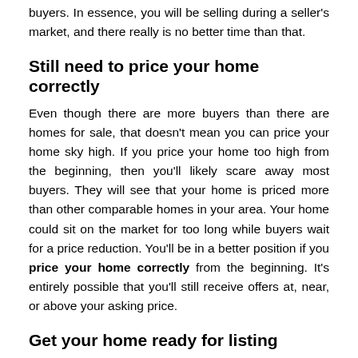buyers. In essence, you will be selling during a seller's market, and there really is no better time than that.
Still need to price your home correctly
Even though there are more buyers than there are homes for sale, that doesn't mean you can price your home sky high. If you price your home too high from the beginning, then you'll likely scare away most buyers. They will see that your home is priced more than other comparable homes in your area. Your home could sit on the market for too long while buyers wait for a price reduction. You'll be in a better position if you price your home correctly from the beginning. It's entirely possible that you'll still receive offers at, near, or above your asking price.
Get your home ready for listing